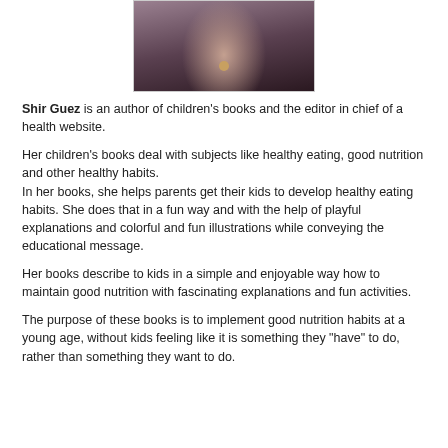[Figure (photo): Portrait photo of Shir Guez, a woman with long dark hair wearing a dark top and necklace]
Shir Guez is an author of children's books and the editor in chief of a health website.
Her children's books deal with subjects like healthy eating, good nutrition and other healthy habits.
In her books, she helps parents get their kids to develop healthy eating habits. She does that in a fun way and with the help of playful explanations and colorful and fun illustrations while conveying the educational message.
Her books describe to kids in a simple and enjoyable way how to maintain good nutrition with fascinating explanations and fun activities.
The purpose of these books is to implement good nutrition habits at a young age, without kids feeling like it is something they "have" to do, rather than something they want to do.